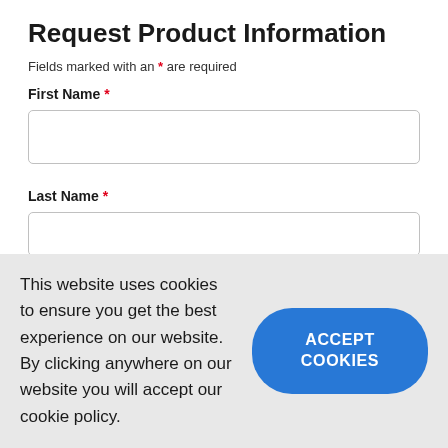Request Product Information
Fields marked with an * are required
First Name *
Last Name *
This website uses cookies to ensure you get the best experience on our website. By clicking anywhere on our website you will accept our cookie policy.